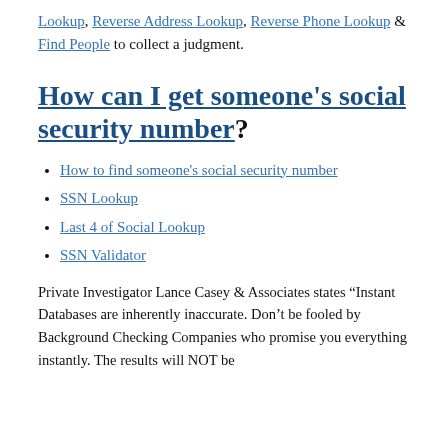Lookup, Reverse Address Lookup, Reverse Phone Lookup & Find People to collect a judgment.
How can I get someone's social security number?
How to find someone's social security number
SSN Lookup
Last 4 of Social Lookup
SSN Validator
Private Investigator Lance Casey & Associates states “Instant Databases are inherently inaccurate. Don’t be fooled by Background Checking Companies who promise you everything instantly. The results will NOT be